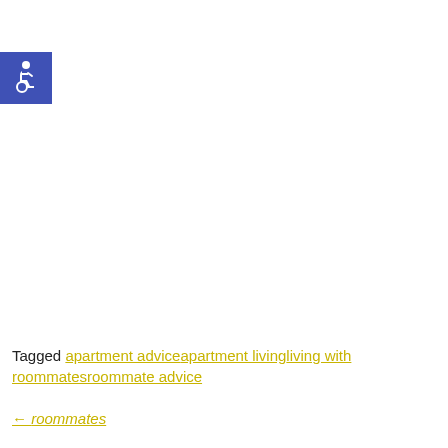[Figure (logo): Blue square with white wheelchair accessibility icon (ISA symbol)]
Tagged apartment adviceapartment livingliving with roommatesroommate advice